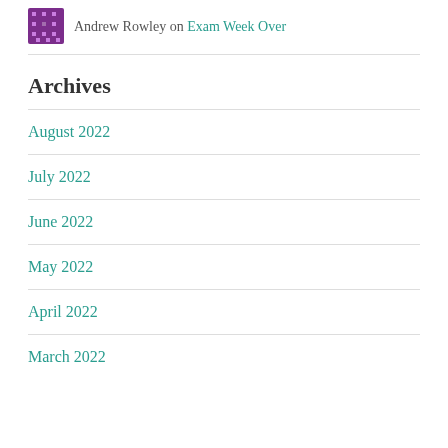Andrew Rowley on Exam Week Over
Archives
August 2022
July 2022
June 2022
May 2022
April 2022
March 2022